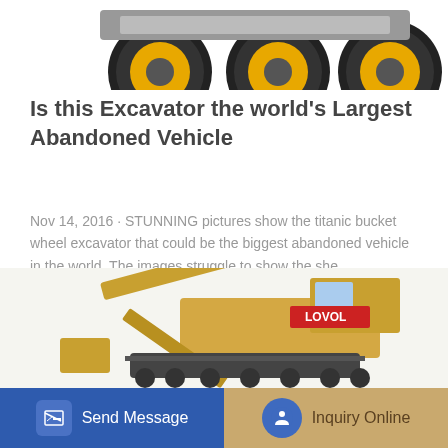[Figure (photo): Top portion of a yellow construction vehicle/loader showing wheels with yellow rims against white background]
Is this Excavator the world's Largest Abandoned Vehicle
Nov 14, 2016 · STUNNING pictures show the titanic bucket wheel excavator that could be the biggest abandoned vehicle in the world. The images struggle to show the she...
Learn More
[Figure (photo): Yellow Lovol brand excavator shown in side profile against white/beige background]
Send Message
Inquiry Online